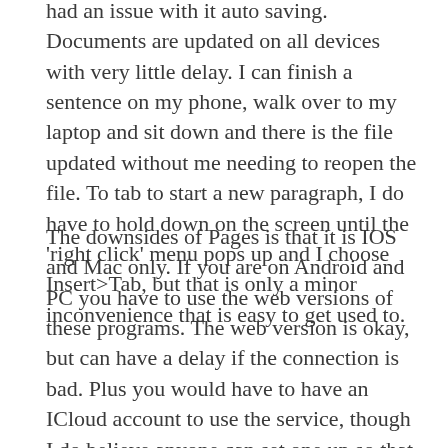had an issue with it auto saving. Documents are updated on all devices with very little delay. I can finish a sentence on my phone, walk over to my laptop and sit down and there is the file updated without me needing to reopen the file. To tab to start a new paragraph, I do have to hold down on the screen until the 'right click' menu pops up and I choose Insert>Tab, but that is only a minor inconvenience that is easy to get used to.
The downsides of Pages is that it is IOS and Mac only. If you are on Android and PC you have to use the web versions of these programs. The web version is okay, but can have a delay if the connection is bad. Plus you would have to have an ICloud account to use the service, though I do believe anyone can set one up so that you can still use the service.